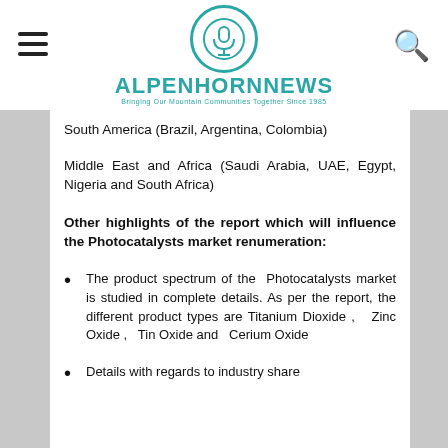ALPENHORNNEWS - Bringing Our Mountain Communities Together Since 1985
South America (Brazil, Argentina, Colombia)
Middle East and Africa (Saudi Arabia, UAE, Egypt, Nigeria and South Africa)
Other highlights of the report which will influence the Photocatalysts market renumeration:
The product spectrum of the Photocatalysts market is studied in complete details. As per the report, the different product types are Titanium Dioxide , Zinc Oxide , Tin Oxide and Cerium Oxide
Details with regards to industry share